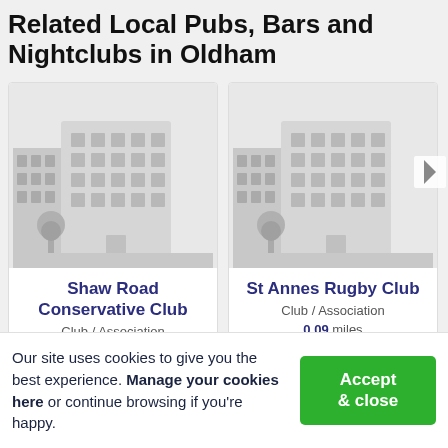Related Local Pubs, Bars and Nightclubs in Oldham
[Figure (illustration): Placeholder building illustration for Shaw Road Conservative Club card]
Shaw Road Conservative Club
Club / Association
[Figure (illustration): Placeholder building illustration for St Annes Rugby Club card]
St Annes Rugby Club
Club / Association
0.09 miles
Our site uses cookies to give you the best experience. Manage your cookies here or continue browsing if you're happy.